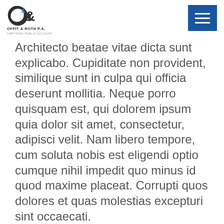[Figure (logo): Offit & Roth P.A. Certified Public Accountants logo with stylized O&R letters]
Architecto beatae vitae dicta sunt explicabo. Cupiditate non provident, similique sunt in culpa qui officia deserunt mollitia. Neque porro quisquam est, qui dolorem ipsum quia dolor sit amet, consectetur, adipisci velit. Nam libero tempore, cum soluta nobis est eligendi optio cumque nihil impedit quo minus id quod maxime placeat. Corrupti quos dolores et quas molestias excepturi sint occaecati.
Posted in Category 2
Previous: [Demo] the last time
Next: [Demo] cupiditate non provident, similique sunt in culpa qui